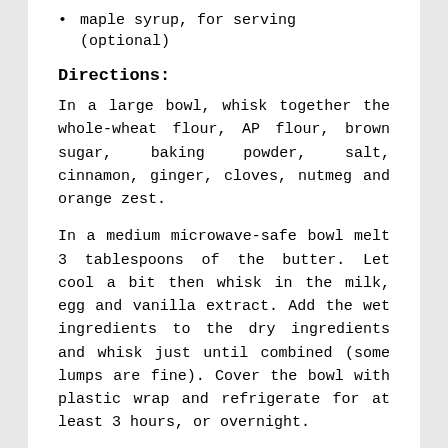maple syrup, for serving (optional)
Directions:
In a large bowl, whisk together the whole-wheat flour, AP flour, brown sugar, baking powder, salt, cinnamon, ginger, cloves, nutmeg and orange zest.
In a medium microwave-safe bowl melt 3 tablespoons of the butter. Let cool a bit then whisk in the milk, egg and vanilla extract. Add the wet ingredients to the dry ingredients and whisk just until combined (some lumps are fine). Cover the bowl with plastic wrap and refrigerate for at least 3 hours, or overnight.
(Note: If you want to make all of the pancakes before serving, preheat oven to 200 F. Place a baking sheet lined with foil on the middle rack.)
Using the remaining 2 1/2 tablespoons of butter, heat about 1 teaspoon in a large nonstick skillet over medium heat. Add 1/4 cup of batter to the pan for each pancake (you can probably make 2 at a time if your pan is large enough). Cook until bubbles appear on the surface of the pancakes and they begin to brown just a bit around the edges, about 2 minutes, then flip and cook